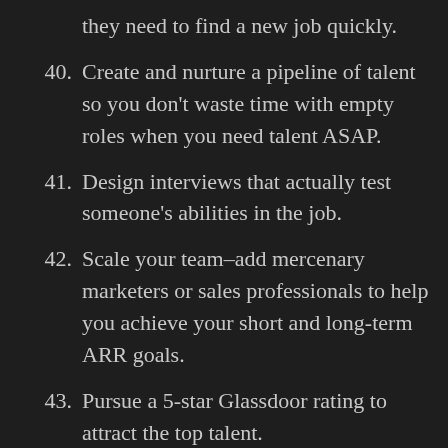they need to find a new job quickly.
40. Create and nurture a pipeline of talent so you don't waste time with empty roles when you need talent ASAP.
41. Design interviews that actually test someone's abilities in the job.
42. Scale your team–add mercenary marketers or sales professionals to help you achieve your short and long-term ARR goals.
43. Pursue a 5-star Glassdoor rating to attract the top talent.
44. Learn to treat every candidate like a sale. Your job is to convince THEM to work for you, even if you don't end up hiring them. (This is a